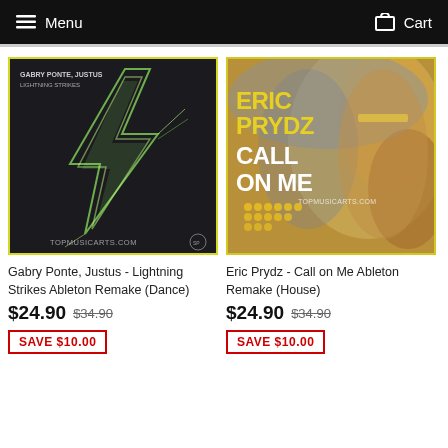Menu  Cart
[Figure (photo): Album art for Gabry Ponte, Justus - Lightning Strikes. Dark background with neon green lightning bolt graphic. Text: GABRY PONTE, JUSTUS / LIGHTNING STRIKES. TOPMUSICARTS.COM logo at bottom.]
Gabry Ponte, Justus - Lightning Strikes Ableton Remake (Dance)
$24.90 $34.90
SAVE $10.00
[Figure (photo): Album art for Eric Prydz - Call on Me. Colorful retro-style image with woman in aerobics outfit. Large text: ERIC PRYDZ CALL ON ME. TOPMUSICARTS.COM logo.]
Eric Prydz - Call on Me Ableton Remake (House)
$24.90 $34.90
SAVE $10.00